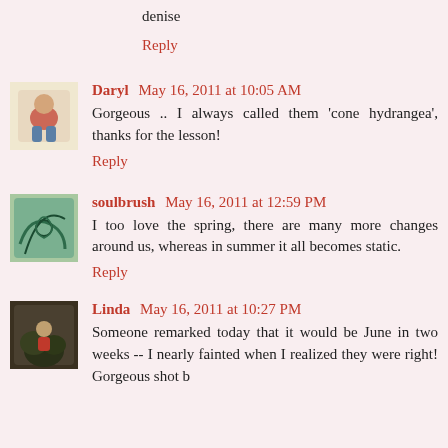denise
Reply
Daryl May 16, 2011 at 10:05 AM
Gorgeous .. I always called them 'cone hydrangea', thanks for the lesson!
Reply
soulbrush May 16, 2011 at 12:59 PM
I too love the spring, there are many more changes around us, whereas in summer it all becomes static.
Reply
Linda May 16, 2011 at 10:27 PM
Someone remarked today that it would be June in two weeks -- I nearly fainted when I realized they were right! Gorgeous shot b...